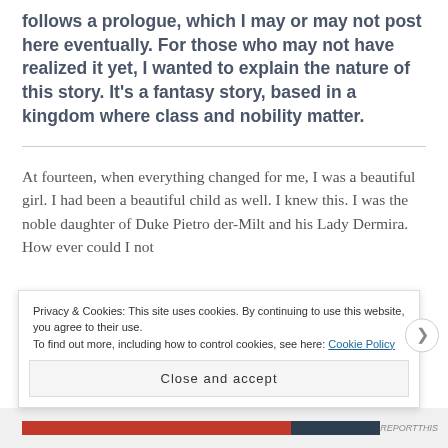follows a prologue, which I may or may not post here eventually. For those who may not have realized it yet, I wanted to explain the nature of this story. It's a fantasy story, based in a kingdom where class and nobility matter.
At fourteen, when everything changed for me, I was a beautiful girl. I had been a beautiful child as well. I knew this. I was the noble daughter of Duke Pietro der-Milt and his Lady Dermira. How ever could I not
Privacy & Cookies: This site uses cookies. By continuing to use this website, you agree to their use.
To find out more, including how to control cookies, see here: Cookie Policy
Close and accept